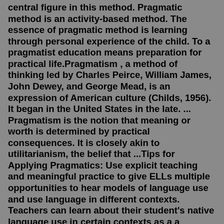central figure in this method. Pragmatic method is an activity-based method. The essence of pragmatic method is learning through personal experience of the child. To a pragmatist education means preparation for practical life.Pragmatism , a method of thinking led by Charles Peirce, William James, John Dewey, and George Mead, is an expression of American culture (Childs, 1956). It began in the United States in the late. ... Pragmatism is the notion that meaning or worth is determined by practical consequences. It is closely akin to utilitarianism, the belief that ...Tips for Applying Pragmatics: Use explicit teaching and meaningful practice to give ELLs multiple opportunities to hear models of language use and use language in different contexts. Teachers can learn about their student's native language use in certain contexts as a a reference point for where students are coming from, andand learners' different approaches, methods, and strategies for pragmatics education. As I see it, demonstrating the culture differences through